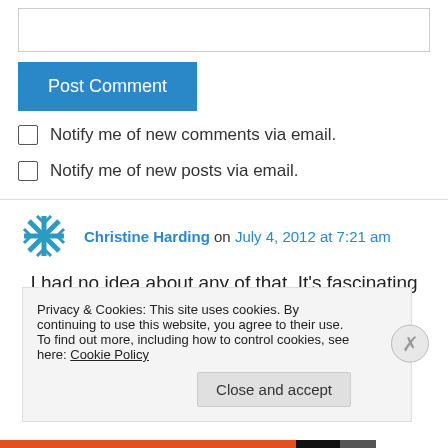[text input box]
Post Comment
Notify me of new comments via email.
Notify me of new posts via email.
Christine Harding on July 4, 2012 at 7:21 am
I had no idea about any of that. It's fascinating
Privacy & Cookies: This site uses cookies. By continuing to use this website, you agree to their use.
To find out more, including how to control cookies, see here: Cookie Policy
Close and accept